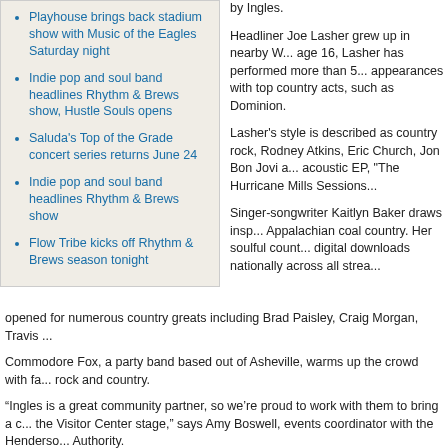Playhouse brings back stadium show with Music of the Eagles Saturday night
Indie pop and soul band headlines Rhythm & Brews show, Hustle Souls opens
Saluda's Top of the Grade concert series returns June 24
Indie pop and soul band headlines Rhythm & Brews show
Flow Tribe kicks off Rhythm & Brews season tonight
by Ingles.
Headliner Joe Lasher grew up in nearby W... age 16, Lasher has performed more than 5... appearances with top country acts, such as Dominion.
Lasher's style is described as country rock, Rodney Atkins, Eric Church, Jon Bon Jovi a... acoustic EP, "The Hurricane Mills Sessions...
Singer-songwriter Kaitlyn Baker draws insp... Appalachian coal country. Her soulful count... digital downloads nationally across all strea... opened for numerous country greats including Brad Paisley, Craig Morgan, Travis ...
Commodore Fox, a party band based out of Asheville, warms up the crowd with fa... rock and country.
“Ingles is a great community partner, so we’re proud to work with them to bring a c... the Visitor Center stage,” says Amy Boswell, events coordinator with the Henderso... Authority.
Admission to the concert is free, with attendees encouraged to bring nonperishable...